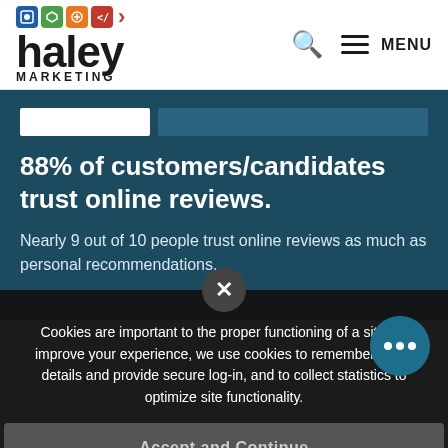[Figure (logo): Haley Marketing logo with colorful icons, large bold 'haley' text, 'MARKETING' subtitle, and red chevron]
88% of customers/candidates trust online reviews.
Nearly 9 out of 10 people trust online reviews as much as personal recommendations.
Cookies are important to the proper functioning of a site. To improve your experience, we use cookies to remember log-in details and provide secure log-in, and to collect statistics to optimize site functionality.
Accept and Continue
Privacy Policy